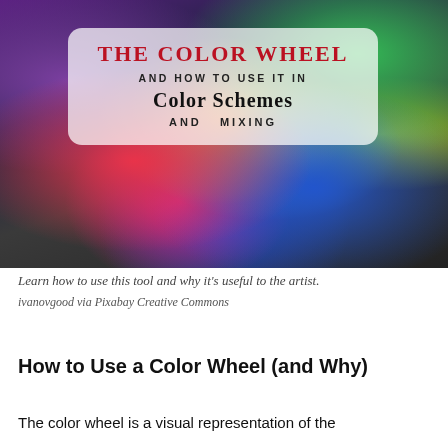[Figure (photo): Colorful face painted with rainbow colors, hands covering eyes. Overlaid text on a semi-transparent white rounded box reads: 'THE COLOR WHEEL AND HOW TO USE IT IN COLOR SCHEMES AND MIXING']
Learn how to use this tool and why it's useful to the artist.
ivanovgood via Pixabay Creative Commons
How to Use a Color Wheel (and Why)
The color wheel is a visual representation of the